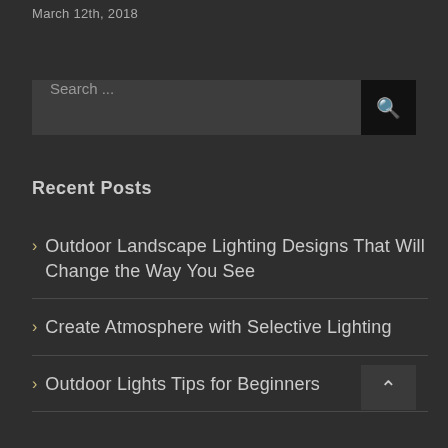March 12th, 2018
Search ...
Recent Posts
Outdoor Landscape Lighting Designs That Will Change the Way You See
Create Atmosphere with Selective Lighting
Outdoor Lights Tips for Beginners